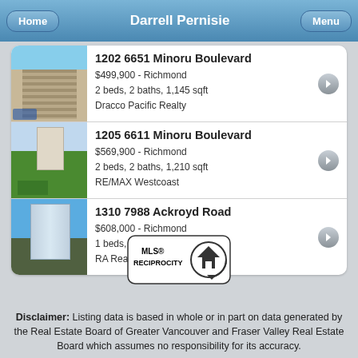Darrell Pernisie
1202 6651 Minoru Boulevard — $499,900 - Richmond — 2 beds, 2 baths, 1,145 sqft — Dracco Pacific Realty
1205 6611 Minoru Boulevard — $569,900 - Richmond — 2 beds, 2 baths, 1,210 sqft — RE/MAX Westcoast
1310 7988 Ackroyd Road — $608,000 - Richmond — 1 beds, 1 baths, 586 sqft — RA Realty Alliance Inc.
[Figure (logo): MLS Reciprocity logo with house icon]
Disclaimer: Listing data is based in whole or in part on data generated by the Real Estate Board of Greater Vancouver and Fraser Valley Real Estate Board which assumes no responsibility for its accuracy.